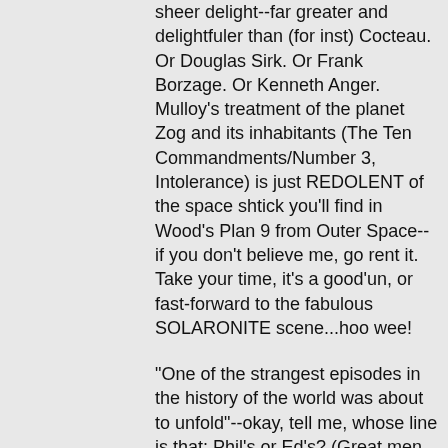sheer delight--far greater and delightfuler than (for inst) Cocteau. Or Douglas Sirk. Or Frank Borzage. Or Kenneth Anger. Mulloy's treatment of the planet Zog and its inhabitants (The Ten Commandments/Number 3, Intolerance) is just REDOLENT of the space shtick you'll find in Wood's Plan 9 from Outer Space--if you don't believe me, go rent it. Take your time, it's a good'un, or fast-forward to the fabulous SOLARONITE scene...hoo wee!
"One of the strangest episodes in the history of the world was about to unfold"--okay, tell me, whose line is that: Phil's or Ed's? (Great men think alike.)
Hey, folks--I hate to sound like a rooter, but Phil Mulloy is my favorite living filmmaker.